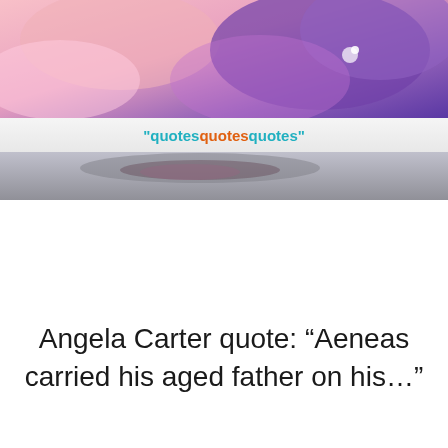[Figure (screenshot): Website banner for 'quotesquotesquotes' featuring a colorful abstract background with pink and purple tones, and a white horizontal band in the middle displaying the site name in teal and orange text.]
Angela Carter quote: “Aeneas carried his aged father on his…”